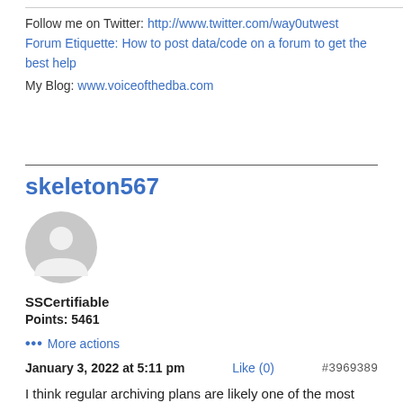Follow me on Twitter: http://www.twitter.com/way0utwest
Forum Etiquette: How to post data/code on a forum to get the best help
My Blog: www.voiceofthedba.com
skeleton567
[Figure (other): Generic user avatar icon — grey circle with person silhouette]
SSCertifiable
Points: 5461
··· More actions
January 3, 2022 at 5:11 pm   Like (0)   #3969389
I think regular archiving plans are likely one of the most